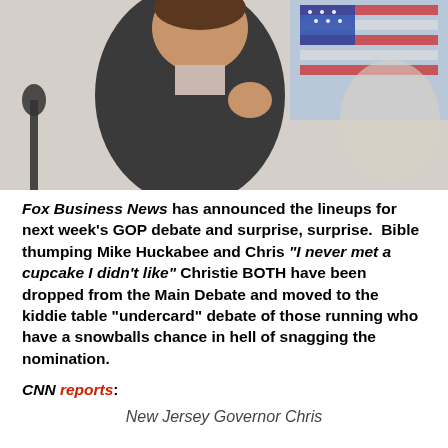[Figure (photo): Man in dark suit speaking at podium with microphone, American flag in background]
Fox Business News has announced the lineups for next week's GOP debate and surprise, surprise. Bible thumping Mike Huckabee and Chris “I never met a cupcake I didn’t like” Christie BOTH have been dropped from the Main Debate and moved to the kiddie table “undercard” debate of those running who have a snowballs chance in hell of snagging the nomination.
CNN reports:
New Jersey Governor Chris